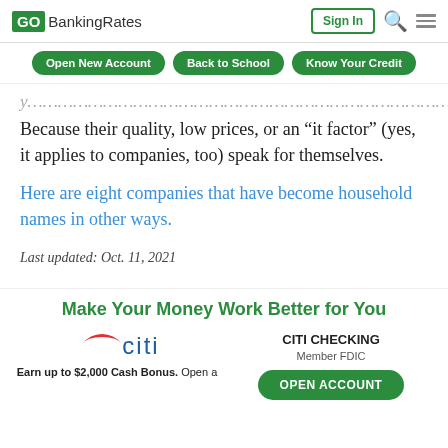GOBankingRates — Sign In
Open New Account | Back to School | Know Your Credit
Because their quality, low prices, or an “it factor” (yes, it applies to companies, too) speak for themselves.
Here are eight companies that have become household names in other ways.
Last updated: Oct. 11, 2021
Make Your Money Work Better for You
CITI CHECKING Member FDIC
Earn up to $2,000 Cash Bonus. Open a
OPEN ACCOUNT